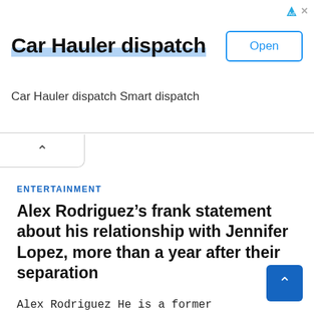[Figure (other): Advertisement banner for 'Car Hauler dispatch' app with title, subtitle 'Car Hauler dispatch Smart dispatch', and an 'Open' button. Small ad icon and close X in top right.]
ENTERTAINMENT
Alex Rodriguez’s frank statement about his relationship with Jennifer Lopez, more than a year after their separation
Alex Rodriguez He is a former professional baseball player who was also a husband Jennifer Lopez For some time. After…